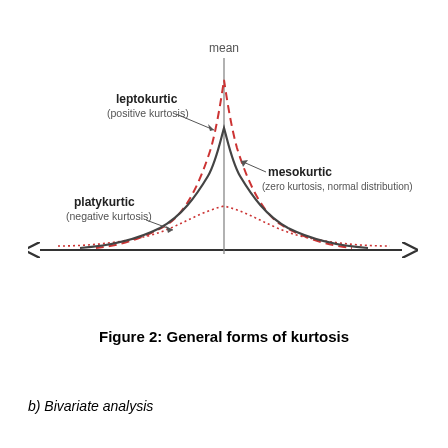[Figure (continuous-plot): Diagram showing three kurtosis distribution curves on a horizontal axis with a vertical line at the mean. A dashed red curve shows leptokurtic (positive kurtosis) with a tall narrow peak. A solid gray curve shows mesokurtic (zero kurtosis, normal distribution) with a medium bell shape. A dotted red curve shows platykurtic (negative kurtosis) with a wide flat shape. Labels with arrows point to each curve. The horizontal axis has arrows on both ends.]
Figure 2: General forms of kurtosis
b) Bivariate analysis